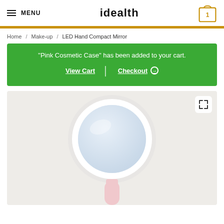MENU | idealth | cart: 1
Home / Make-up / LED Hand Compact Mirror
"Pink Cosmetic Case" has been added to your cart. View Cart | Checkout
[Figure (photo): LED Hand Compact Mirror product photo — round white mirror with pink handle on light gray background]